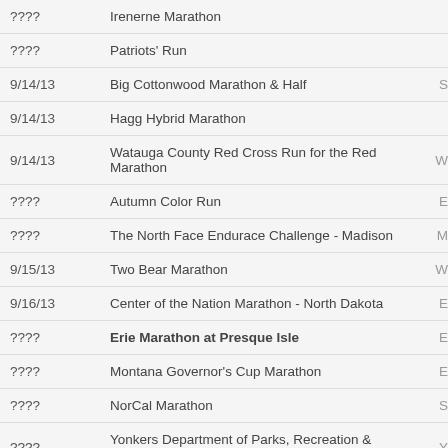| Date | Event Name |  |
| --- | --- | --- |
| ???? | Irenerne Marathon |  |
| ???? | Patriots' Run |  |
| 9/14/13 | Big Cottonwood Marathon & Half | S |
| 9/14/13 | Hagg Hybrid Marathon |  |
| 9/14/13 | Watauga County Red Cross Run for the Red Marathon | W |
| ???? | Autumn Color Run | E |
| ???? | The North Face Endurace Challenge - Madison | M |
| 9/15/13 | Two Bear Marathon | W |
| 9/16/13 | Center of the Nation Marathon - North Dakota | E |
| ???? | Erie Marathon at Presque Isle | E |
| ???? | Montana Governor's Cup Marathon | E |
| ???? | NorCal Marathon | S |
| ???? | Yonkers Department of Parks, Recreation & Conservation Yonkers Marathon | Y |
| 9/17/13 | Center of the Nation Marathon - South Dakota | E |